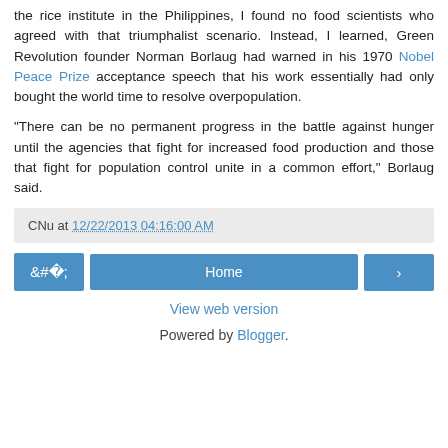the rice institute in the Philippines, I found no food scientists who agreed with that triumphalist scenario. Instead, I learned, Green Revolution founder Norman Borlaug had warned in his 1970 Nobel Peace Prize acceptance speech that his work essentially had only bought the world time to resolve overpopulation.
"There can be no permanent progress in the battle against hunger until the agencies that fight for increased food production and those that fight for population control unite in a common effort," Borlaug said.
CNu at 12/22/2013 04:16:00 AM
< Home >
View web version
Powered by Blogger.